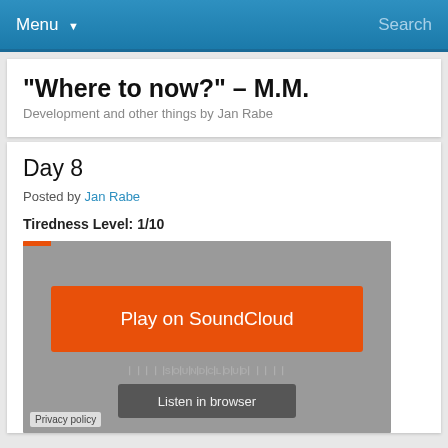Menu  Search
"Where to now?" – M.M.
Development and other things by Jan Rabe
Day 8
Posted by Jan Rabe
Tiredness Level: 1/10
[Figure (screenshot): SoundCloud embedded player widget with orange 'Play on SoundCloud' button, waveform, 'Listen in browser' button, and 'Privacy policy' text at bottom left.]